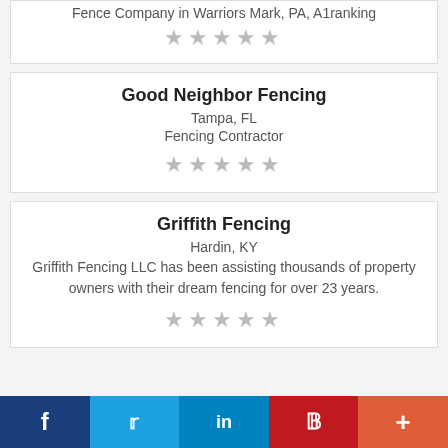Fence Company in Warriors Mark, PA, A1ranking
★★★★★
Good Neighbor Fencing
Tampa, FL
Fencing Contractor
★★★★★
Griffith Fencing
Hardin, KY
Griffith Fencing LLC has been assisting thousands of property owners with their dream fencing for over 23 years.
★★★★★
f  🐦 in  P  +